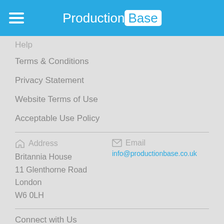ProductionBase
Help
Terms & Conditions
Privacy Statement
Website Terms of Use
Acceptable Use Policy
Address
Britannia House
11 Glenthorne Road
London
W6 0LH
Email
info@productionbase.co.uk
Connect with Us
[Figure (other): Social media icons: Facebook, Twitter, LinkedIn, Google+]
Copyright 2016 © ProductionBase